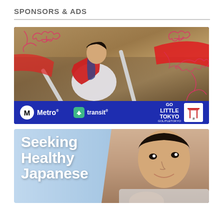SPONSORS & ADS
[Figure (photo): Advertisement for Metro and Go Little Tokyo featuring a young girl in traditional Japanese festival attire (red and white kimono) performing a dance with batons, with decorative pink floral sketches overlay. Bottom bar shows Metro logo, transit app logo, and Go Little Tokyo branding.]
[Figure (photo): Advertisement beginning with text 'Seeking Healthy Japanese' in bold white letters on a light blue background, with a photo of an Asian man smiling.]